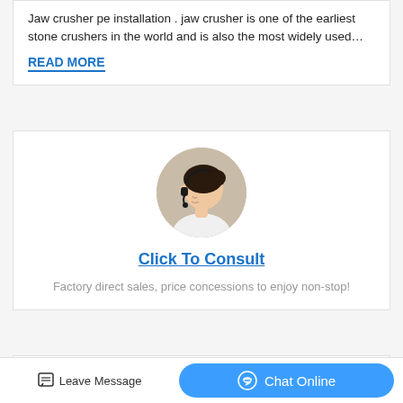Jaw crusher pe installation . jaw crusher is one of the earliest stone crushers in the world and is also the most widely used…
READ MORE
[Figure (photo): Circular cropped photo of a woman wearing a headset, customer service representative]
Click To Consult
Factory direct sales, price concessions to enjoy non-stop!
Hots Product
Leave Message
Chat Online